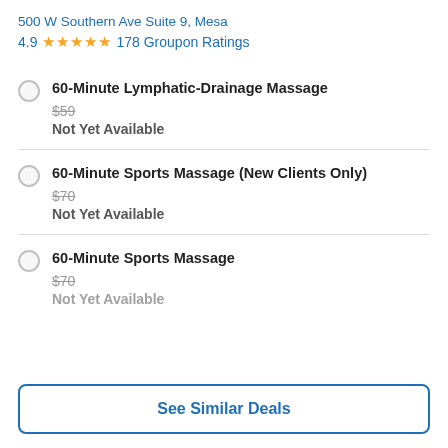500 W Southern Ave Suite 9, Mesa
4.9 ★★★★★ 178 Groupon Ratings
60-Minute Lymphatic-Drainage Massage
$59
Not Yet Available
60-Minute Sports Massage (New Clients Only)
$70
Not Yet Available
60-Minute Sports Massage
$70
Not Yet Available
See Similar Deals